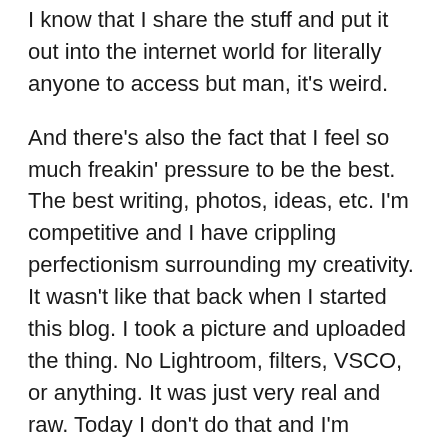I know that I share the stuff and put it out into the internet world for literally anyone to access but man, it's weird.
And there's also the fact that I feel so much freakin' pressure to be the best. The best writing, photos, ideas, etc. I'm competitive and I have crippling perfectionism surrounding my creativity. It wasn't like that back when I started this blog. I took a picture and uploaded the thing. No Lightroom, filters, VSCO, or anything. It was just very real and raw. Today I don't do that and I'm surrounded by tons of others who also don't do that. Which isn't bad, there's definitely a time and place for that type of creative expression but the fact that we are so saturated